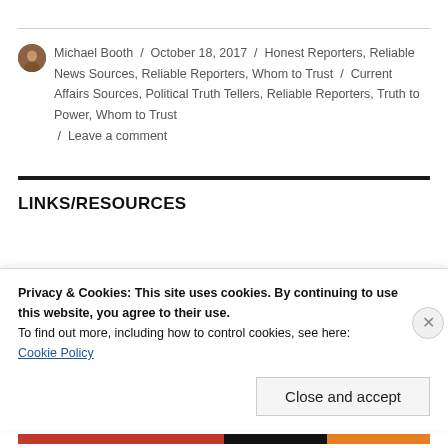Michael Booth / October 18, 2017 / Honest Reporters, Reliable News Sources, Reliable Reporters, Whom to Trust / Current Affairs Sources, Political Truth Tellers, Reliable Reporters, Truth to Power, Whom to Trust / Leave a comment
LINKS/RESOURCES
Privacy & Cookies: This site uses cookies. By continuing to use this website, you agree to their use.
To find out more, including how to control cookies, see here: Cookie Policy